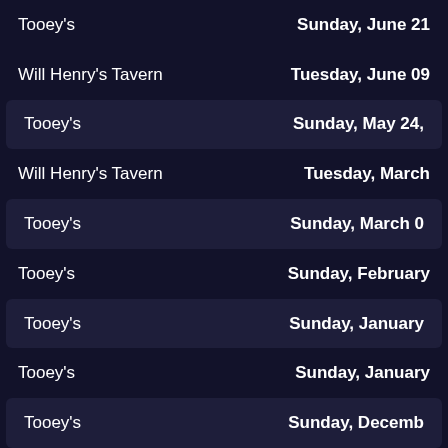Tooey's | Sunday, June 21
Will Henry's Tavern | Tuesday, June 09
Tooey's | Sunday, May 24,
Will Henry's Tavern | Tuesday, March
Tooey's | Sunday, March 0
Tooey's | Sunday, February
Tooey's | Sunday, January
Tooey's | Sunday, January
Tooey's | Sunday, Decemb